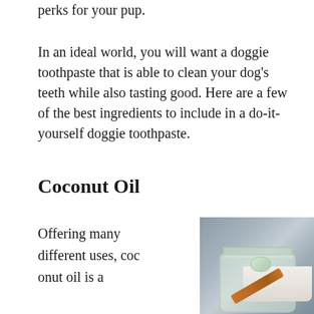perks for your pup.
In an ideal world, you will want a doggie toothpaste that is able to clean your dog's teeth while also tasting good. Here are a few of the best ingredients to include in a do-it-yourself doggie toothpaste.
Coconut Oil
Offering many different uses, coconut oil is a
[Figure (photo): A glass jar of white coconut oil with a wooden spoon resting on top, photographed on a rustic blue-grey wooden surface.]